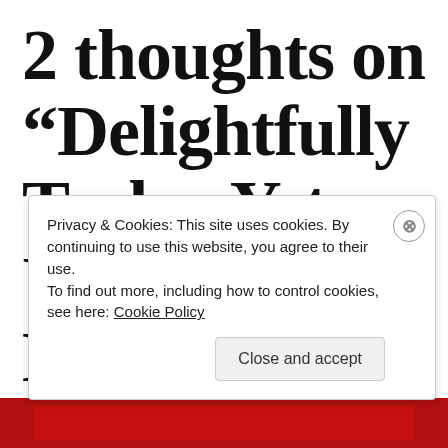2 thoughts on “Delightfully Tacky, Yet Unrefined: How
Privacy & Cookies: This site uses cookies. By continuing to use this website, you agree to their use.
To find out more, including how to control cookies, see here: Cookie Policy